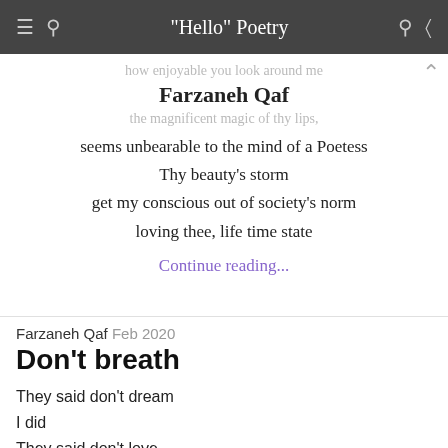"Hello" Poetry
how enjoyable you look around me
the magnificent magic of thy lips,
Farzaneh Qaf
seems unbearable to the mind of a Poetess
Thy beauty's storm
get my conscious out of society's norm
loving thee, life time state
Continue reading...
Farzaneh Qaf  Feb 2020
Don't breath
They said don't dream
I did
They said don't love
I did
They said don't fall